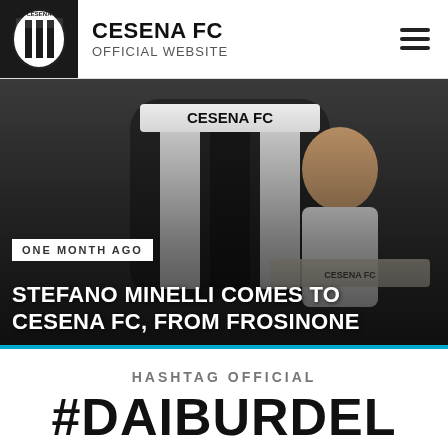CESENA FC OFFICIAL WEBSITE
[Figure (photo): Stefano Minelli holding a Cesena FC scarf, smiling in front of the Cesena FC crest/logo backdrop. Overlaid text reads 'ONE MONTH AGO' and headline 'STEFANO MINELLI COMES TO CESENA FC, FROM FROSINONE']
ONE MONTH AGO
STEFANO MINELLI COMES TO CESENA FC, FROM FROSINONE
HASHTAG OFFICIAL
#DAIBURDEL